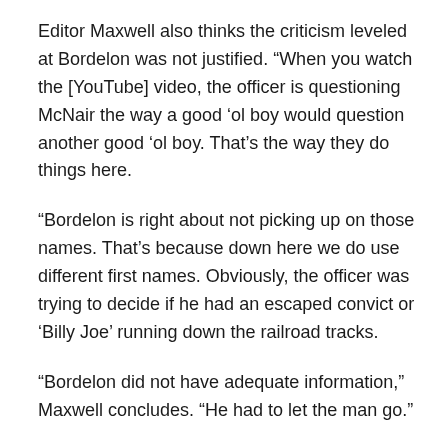Editor Maxwell also thinks the criticism leveled at Bordelon was not justified. “When you watch the [YouTube] video, the officer is questioning McNair the way a good ‘ol boy would question another good ‘ol boy. That’s the way they do things here.
“Bordelon is right about not picking up on those names. That’s because down here we do use different first names. Obviously, the officer was trying to decide if he had an escaped convict or ‘Billy Joe’ running down the railroad tracks.
“Bordelon did not have adequate information,” Maxwell concludes. “He had to let the man go.”
The journalist feels the prison hung Bordelon out to dry. “The situation was perfect for the prison, and it took